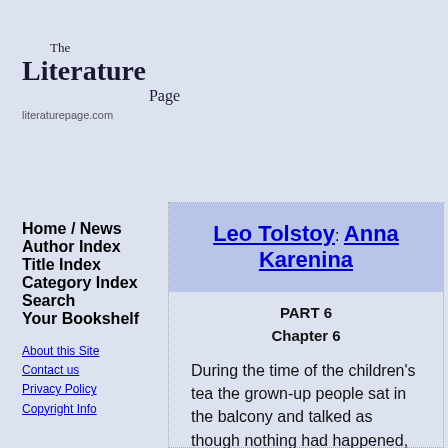[Figure (logo): The Literature Page logo with text 'The Literature Page' and URL 'literaturepage.com']
Home / News
Author Index
Title Index
Category Index
Search
Your Bookshelf
About this Site
Contact us
Privacy Policy
Copyright Info
Leo Tolstoy: Anna Karenina
PART 6
Chapter 6
During the time of the children's tea the grown-up people sat in the balcony and talked as though nothing had happened, though they all, especially Sergey Ivanovitch and